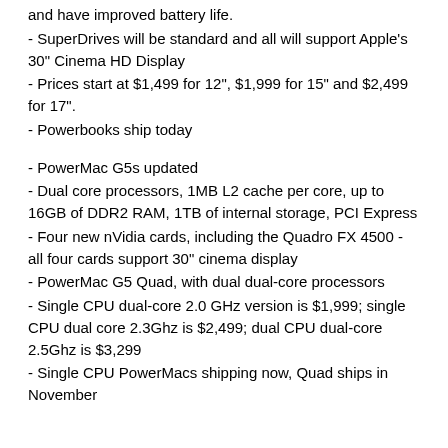and have improved battery life.
- SuperDrives will be standard and all will support Apple's 30" Cinema HD Display
- Prices start at $1,499 for 12", $1,999 for 15" and $2,499 for 17".
- Powerbooks ship today
- PowerMac G5s updated
- Dual core processors, 1MB L2 cache per core, up to 16GB of DDR2 RAM, 1TB of internal storage, PCI Express
- Four new nVidia cards, including the Quadro FX 4500 - all four cards support 30" cinema display
- PowerMac G5 Quad, with dual dual-core processors
- Single CPU dual-core 2.0 GHz version is $1,999; single CPU dual core 2.3Ghz is $2,499; dual CPU dual-core 2.5Ghz is $3,299
- Single CPU PowerMacs shipping now, Quad ships in November